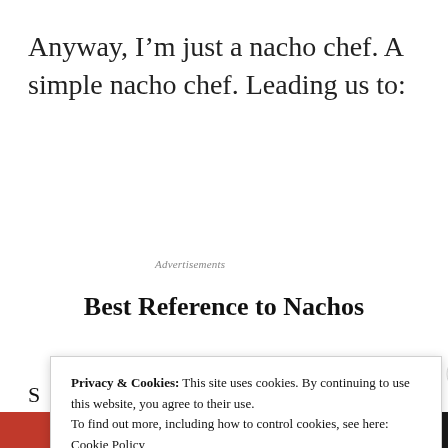Anyway, I'm just a nacho chef. A simple nacho chef. Leading us to:
Advertisements
Best Reference to Nachos
S
T
Privacy & Cookies: This site uses cookies. By continuing to use this website, you agree to their use.
To find out more, including how to control cookies, see here: Cookie Policy
Close and accept